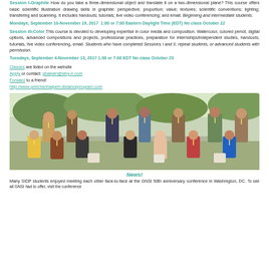Session I-Graphite How do you take a three-dimensional object and translate it on a two-dimensional plane? This course offers basic scientific illustration drawing skills in graphite: perspective; proportion; value; textures; scientific conventions; lighting; transfering and scanning. It includes handouts; tutorials; live video conferencing; and email. Beginning and intermediate students.
Mondays, September 10-November 19, 2017  1:00 or 7:00 Eastern Daylight Time (EDT) No class October 22
Session III-Color This course is devoted to developing expertise in color media and composition. Watercolor, colored pencil, digital options, advanced compositions and projects, professional practices, preparation for internships/independent studies, handouts, tutorials, live video conferencing, email. Students who have completed Sessions I and II, repeat students, or advanced students with permission.
Tuesdays, September 4-November 13, 2017 1:00 or 7:00 EDT No class October 23
Classes are listed on the website
Apply or contact: ghalperl@stny.rr.com
Forward to a friend!
http://www.gretchenhalpert-distanceprogram.com
[Figure (photo): Group photo of approximately 14 people sitting and standing outdoors in a park setting, smiling for the camera. They appear to be conference or program attendees.]
News!
Many SIDP students enjoyed meeting each other face-to-face at the GNSI 50th anniversary conference in Washington, DC. To see all GNSI had to offer, visit the conference